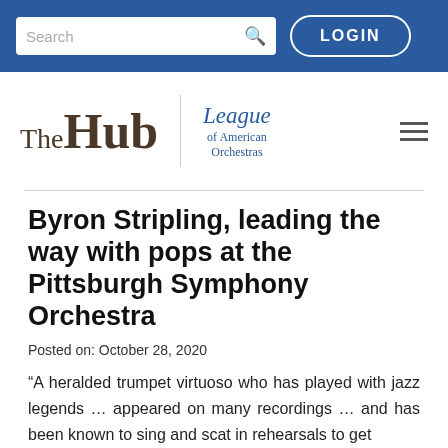Search | LOGIN
[Figure (logo): TheHub | League of American Orchestras logo with hamburger menu]
Byron Stripling, leading the way with pops at the Pittsburgh Symphony Orchestra
Posted on: October 28, 2020
“A heralded trumpet virtuoso who has played with jazz legends … appeared on many recordings … and has been known to sing and scat in rehearsals to get